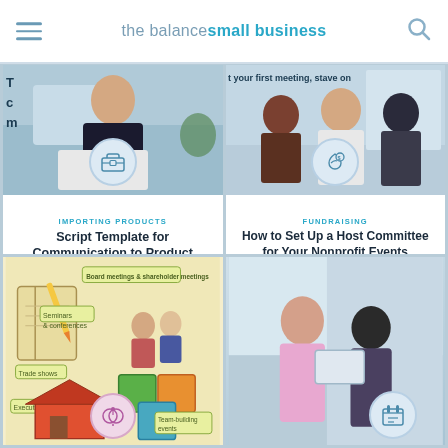the balance small business
[Figure (photo): Woman smiling on phone at laptop with partial text overlay showing truncated article title]
IMPORTING PRODUCTS
Script Template for Communication to Product Manufacturers
[Figure (photo): Group of people in business meeting with partial text 't your first meeting, stave on' visible at top]
FUNDRAISING
How to Set Up a Host Committee for Your Nonprofit Events
[Figure (illustration): Illustrated infographic showing various business meeting types: seminars, conferences, trade shows, executive retreats, board meetings, team-building events]
[Figure (photo): Two women in office setting, one showing something on a tablet, with a market stall icon overlay]